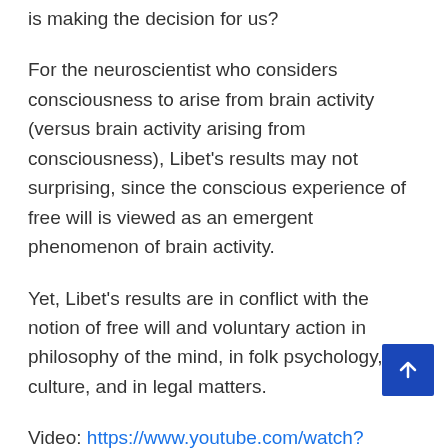is making the decision for us?
For the neuroscientist who considers consciousness to arise from brain activity (versus brain activity arising from consciousness), Libet’s results may not surprising, since the conscious experience of free will is viewed as an emergent phenomenon of brain activity.
Yet, Libet’s results are in conflict with the notion of free will and voluntary action in philosophy of the mind, in folk psychology, in culture, and in legal matters.
Video: https://www.youtube.com/watch?v=kdf6srnVcM0
RELATED POSTS